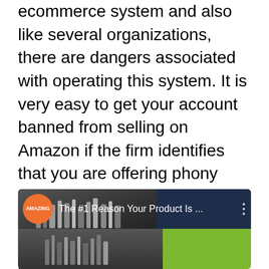Dropshipping is risky. Amazon is an ecommerce system and also like several organizations, there are dangers associated with operating this system. It is very easy to get your account banned from selling on Amazon if the firm identifies that you are offering phony goods. If you operate a dropshipping business utilizing Amazon as your platform, it is crucial that you comprehend the guidelines and follow them very closely. Make certain to ask your dropshipper about these risks and do not wait to contact them ought to you come to a conclusion that you can not wage the sale.
[Figure (screenshot): A video card thumbnail showing 'The #1 Reason Your Product Is ...' with an orange circular AMAZING badge logo on the left, a dark blue navigation bar, a product/cosmetics thumbnail on the left side, and a green strip on the bottom right.]